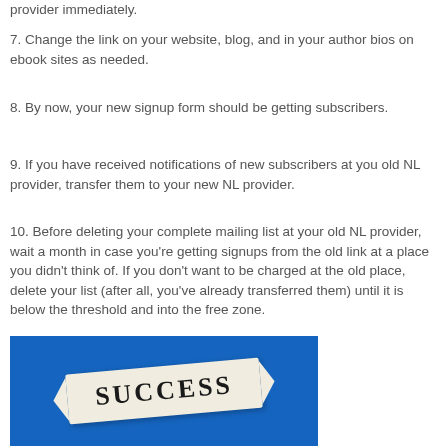provider immediately.
7. Change the link on your website, blog, and in your author bios on ebook sites as needed.
8. By now, your new signup form should be getting subscribers.
9. If you have received notifications of new subscribers at you old NL provider, transfer them to your new NL provider.
10. Before deleting your complete mailing list at your old NL provider, wait a month in case you're getting signups from the old link at a place you didn't think of. If you don't want to be charged at the old place, delete your list (after all, you've already transferred them) until it is below the threshold and into the free zone.
[Figure (photo): Photo of a ribbon/banner with the word SUCCESS on a blue background]